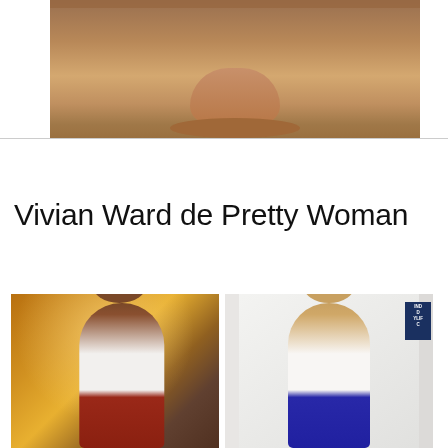[Figure (photo): Cropped photo showing the lower legs and feet of a person on a tiled floor, warm tones]
Vivian Ward de Pretty Woman
[Figure (photo): Side-by-side comparison photos: left shows a woman with curly dark hair wearing a white cutout top and reddish skirt in a warm-lit room (appears to be a character from a TV show); right shows a real woman with curly blonde hair wearing the same style white cutout top and blue shorts against a white wall, recreating the look of Vivian Ward from Pretty Woman]